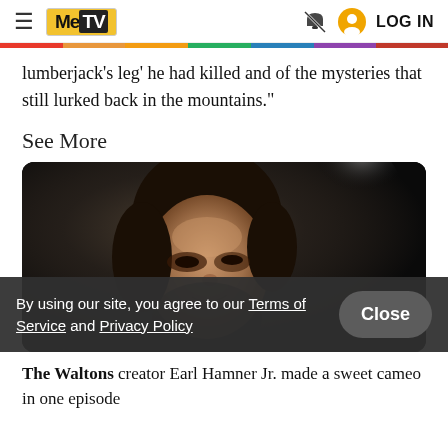MeTV | LOG IN
lumberjack's leg' he had killed and of the mysteries that still lurked back in the mountains."
See More
[Figure (photo): Close-up photo of a man with dark curly hair, dimly lit, dark background]
By using our site, you agree to our Terms of Service and Privacy Policy
The Waltons creator Earl Hamner Jr. made a sweet cameo in one episode